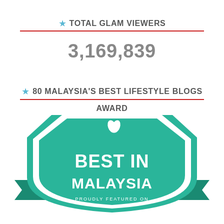TOTAL GLAM VIEWERS
3,169,839
80 MALAYSIA'S BEST LIFESTYLE BLOGS AWARD
[Figure (logo): Best in Malaysia award badge — a shield-shaped teal/green badge with white text reading 'BEST IN MALAYSIA' and 'PROUDLY FEATURED ON', with leaf and strawberry decorative elements]